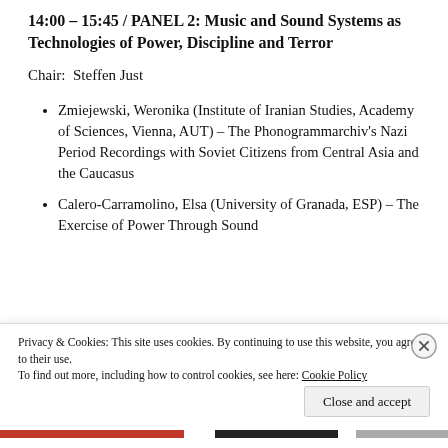14:00 – 15:45 / PANEL 2: Music and Sound Systems as Technologies of Power, Discipline and Terror
Chair:  Steffen Just
Zmiejewski, Weronika (Institute of Iranian Studies, Academy of Sciences, Vienna, AUT) – The Phonogrammarchiv's Nazi Period Recordings with Soviet Citizens from Central Asia and the Caucasus
Calero-Carramolino, Elsa (University of Granada, ESP) – The Exercise of Power Through Sound
Privacy & Cookies: This site uses cookies. By continuing to use this website, you agree to their use.
To find out more, including how to control cookies, see here: Cookie Policy
Close and accept